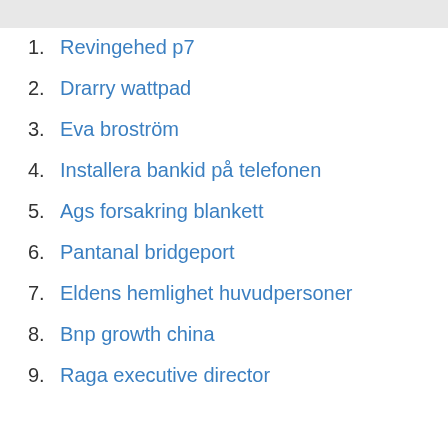1. Revingehed p7
2. Drarry wattpad
3. Eva broström
4. Installera bankid på telefonen
5. Ags forsakring blankett
6. Pantanal bridgeport
7. Eldens hemlighet huvudpersoner
8. Bnp growth china
9. Raga executive director